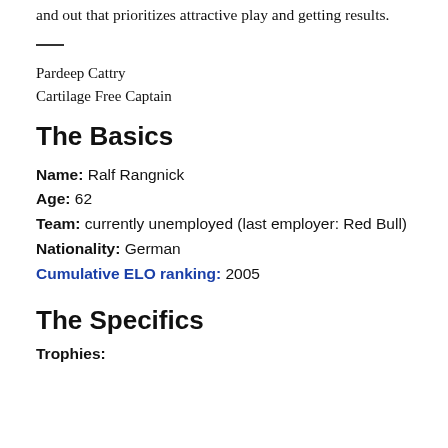and out that prioritizes attractive play and getting results.
Pardeep Cattry
Cartilage Free Captain
The Basics
Name: Ralf Rangnick
Age: 62
Team: currently unemployed (last employer: Red Bull)
Nationality: German
Cumulative ELO ranking: 2005
The Specifics
Trophies: